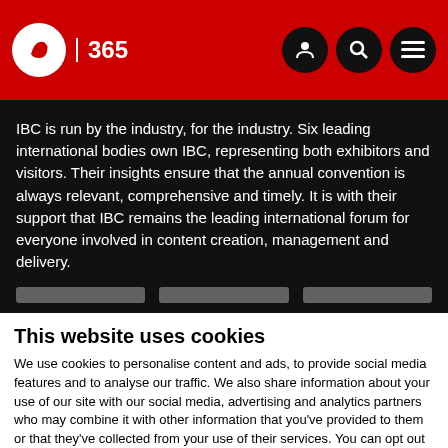IBC 365 - logo and navigation header
IBC is run by the industry, for the industry. Six leading international bodies own IBC, representing both exhibitors and visitors. Their insights ensure that the annual convention is always relevant, comprehensive and timely. It is with their support that IBC remains the leading international forum for everyone involved in content creation, management and delivery.
This website uses cookies
We use cookies to personalise content and ads, to provide social media features and to analyse our traffic. We also share information about your use of our site with our social media, advertising and analytics partners who may combine it with other information that you've provided to them or that they've collected from your use of their services. You can opt out of certain types of cookies below before proceeding to the website.
Use necessary cookies only | Allow all cookies
Show details